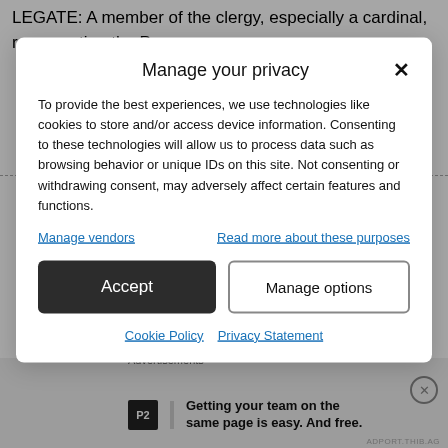LEGATE: A member of the clergy, especially a cardinal, representing the Pope.
Manage your privacy
To provide the best experiences, we use technologies like cookies to store and/or access device information. Consenting to these technologies will allow us to process data such as browsing behavior or unique IDs on this site. Not consenting or withdrawing consent, may adversely affect certain features and functions.
Manage vendors
Read more about these purposes
Accept
Manage options
Cookie Policy
Privacy Statement
Advertisements
Getting your team on the same page is easy. And free.